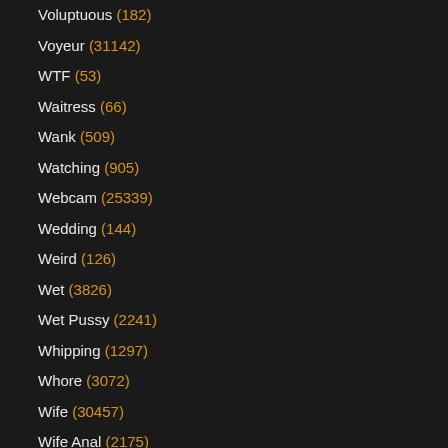Voluptuous (182)
Voyeur (31142)
WTF (53)
Waitress (66)
Wank (509)
Watching (905)
Webcam (25339)
Wedding (144)
Weird (126)
Wet (3826)
Wet Pussy (2241)
Whipping (1297)
Whore (3072)
Wife (30457)
Wife Anal (2175)
Wife Blowjob (3695)